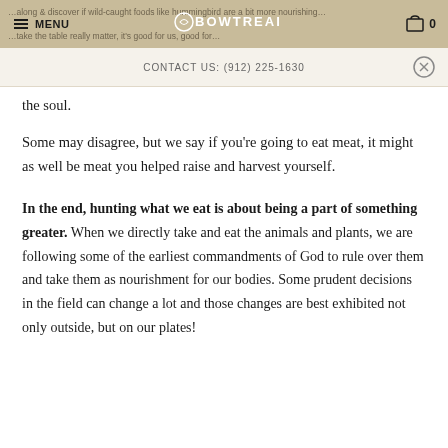MENU | BOWTREADER | 0
CONTACT US: (912) 225-1630
the soul.
Some may disagree, but we say if you're going to eat meat, it might as well be meat you helped raise and harvest yourself.
In the end, hunting what we eat is about being a part of something greater. When we directly take and eat the animals and plants, we are following some of the earliest commandments of God to rule over them and take them as nourishment for our bodies. Some prudent decisions in the field can change a lot and those changes are best exhibited not only outside, but on our plates!